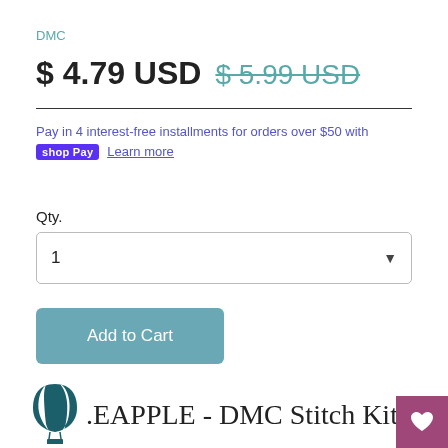DMC
$ 4.79 USD  $ 5.99 USD
Pay in 4 interest-free installments for orders over $50 with shop Pay Learn more
Qty.
1
Add to Cart
[Figure (logo): Hot air balloon logo icon in dark teal/navy stripes]
.EAPPLE - DMC Stitch Kit